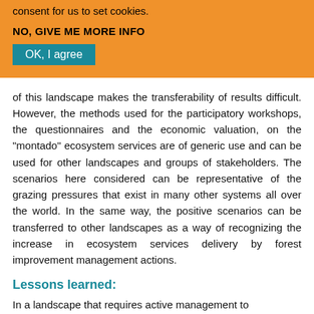consent for us to set cookies.
NO, GIVE ME MORE INFO
OK, I agree
of this landscape makes the transferability of results difficult. However, the methods used for the participatory workshops, the questionnaires and the economic valuation, on the "montado" ecosystem services are of generic use and can be used for other landscapes and groups of stakeholders. The scenarios here considered can be representative of the grazing pressures that exist in many other systems all over the world. In the same way, the positive scenarios can be transferred to other landscapes as a way of recognizing the increase in ecosystem services delivery by forest improvement management actions.
Lessons learned:
In a landscape that requires active management to